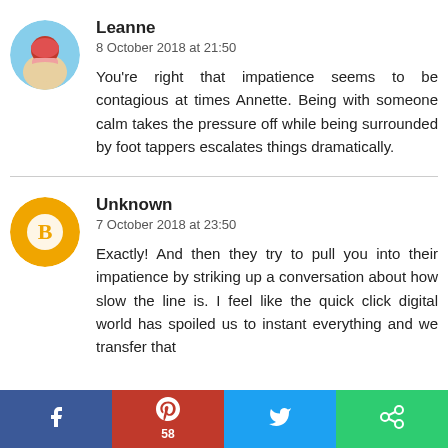[Figure (photo): Circular avatar photo of Leanne, showing a person in pink outdoors]
Leanne
8 October 2018 at 21:50
You're right that impatience seems to be contagious at times Annette. Being with someone calm takes the pressure off while being surrounded by foot tappers escalates things dramatically.
[Figure (logo): Circular orange Blogger icon for Unknown commenter]
Unknown
7 October 2018 at 23:50
Exactly! And then they try to pull you into their impatience by striking up a conversation about how slow the line is. I feel like the quick click digital world has spoiled us to instant everything and we transfer that
[Figure (infographic): Social share bar with Facebook, Pinterest (58), Twitter, and another share button]